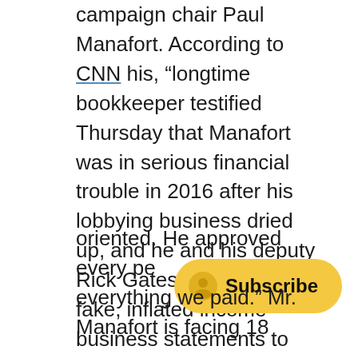campaign chair Paul Manafort. According to CNN his, “longtime bookkeeper testified Thursday that Manafort was in serious financial trouble in 2016 after his lobbying business dried up, and he and his deputy Rick Gates sent several fake, inflated income business statements to banks.” For example when his firm had lost $1 million, Manafort told banks he had made $3 million. He also did not disclose that he had foreign bank accounts. Earlier in the week prosecutors had offered evidence showing Manafort’s lavish spending on luxury big-ticket items. Bookkeeper Heather Washkuhn, who testified in front of the jury on Thursday said, “He w… oriented. He approved every pe… everything we paid.” Mr. Manafort is facing 18 …